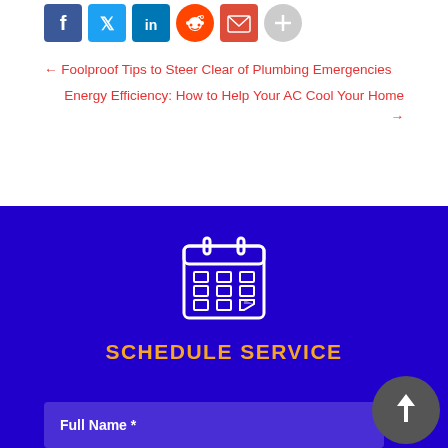[Figure (other): Row of social media sharing icons: Facebook, Twitter, LinkedIn, Reddit, Email, Share/Plus]
← Foolproof Tips to Steer Clear of Plumbing Emergencies
Energy Efficiency: How to Help Your AC Cool Your Home →
[Figure (illustration): Calendar icon in white outline on dark blue background]
SCHEDULE SERVICE
Full Name *